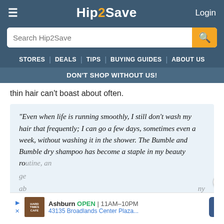Hip2Save — Login
[Figure (screenshot): Hip2Save website navigation with search bar, nav links (STORES, DEALS, TIPS, BUYING GUIDES, ABOUT US), and DON'T SHOP WITHOUT US! sub-banner]
thin hair can't boast about often.
“Even when life is running smoothly, I still don’t wash my hair that frequently; I can go a few days, sometimes even a week, without washing it in the shower. The Bumble and Bumble dry shampoo has become a staple in my beauty ro... an ge... ab... ny gr...
[Figure (screenshot): Ad overlay showing: Ashburn OPEN 11AM-10PM, 43135 Broadlands Center Plaza... with navigation icon, restaurant logo, play and close icons]